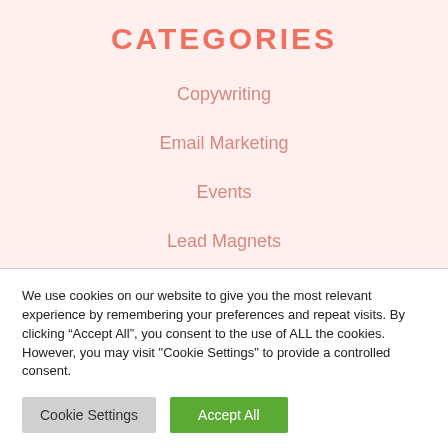CATEGORIES
Copywriting
Email Marketing
Events
Lead Magnets
We use cookies on our website to give you the most relevant experience by remembering your preferences and repeat visits. By clicking “Accept All”, you consent to the use of ALL the cookies. However, you may visit "Cookie Settings" to provide a controlled consent.